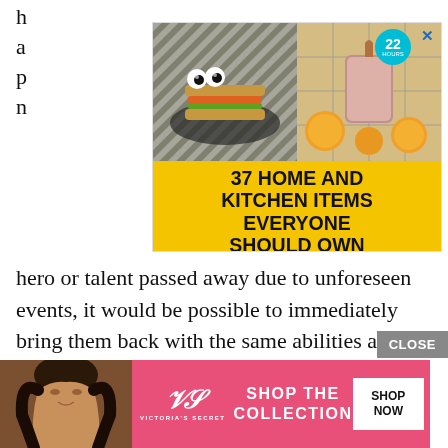h... a... p... n...
[Figure (infographic): Advertisement banner: yellow background with two food/drink images on the left and bold text '37 HOME AND KITCHEN ITEMS EVERYONE SHOULD OWN' on the right, with a teal badge showing '22 hours' and a blue X close button.]
hero or talent passed away due to unforeseen events, it would be possible to immediately bring them back with the same abilities and form…"
Lumia got goosebumps at the thought of it. If she were to die… And then appeared a her that wasn't herself that was treated by Sistina and everyone else as 'Lumia'. Then it was as if she was the copy instead...
[Figure (infographic): Victoria's Secret advertisement banner on pink background with model photo, VS logo, 'SHOP THE COLLECTION' text, and 'SHOP NOW' button.]